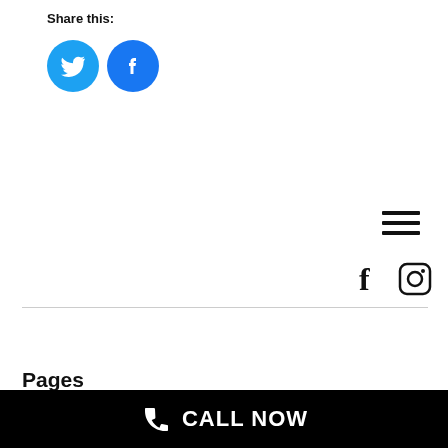Share this:
[Figure (illustration): Twitter and Facebook social share icon buttons — two round cyan/blue circles with white bird (Twitter) and white f (Facebook) icons]
[Figure (illustration): Hamburger menu icon — three horizontal dark lines]
[Figure (illustration): Facebook 'f' and Instagram camera icon footer social links]
Pages
CALL NOW